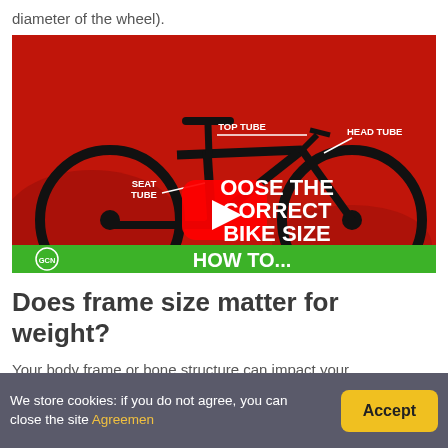diameter of the wheel).
[Figure (screenshot): YouTube video thumbnail from GCN (Global Cycling Network) showing a road bike silhouette on a red background with white text labels: TOP TUBE, HEAD TUBE, SEAT TUBE, and overlay text reading 'CHOOSE THE CORRECT BIKE SIZE'. A green banner at the bottom reads 'HOW TO...' with the GCN logo. A YouTube play button is centered over the image.]
Does frame size matter for weight?
Your body frame or bone structure can impact your
We store cookies: if you do not agree, you can close the site Agreemen